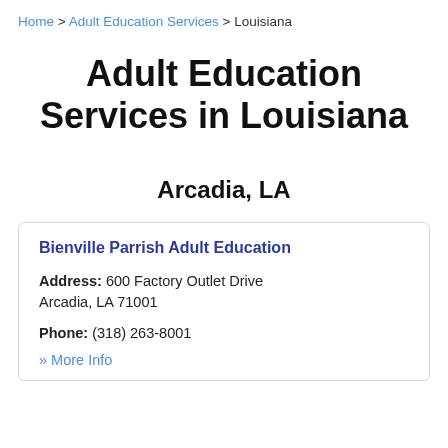Home > Adult Education Services > Louisiana
Adult Education Services in Louisiana
Arcadia, LA
Bienville Parrish Adult Education
Address: 600 Factory Outlet Drive Arcadia, LA 71001
Phone: (318) 263-8001
» More Info